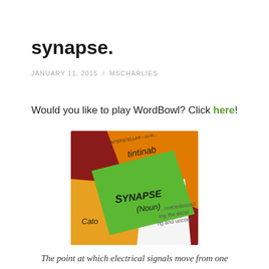synapse.
JANUARY 11, 2015  /  MSCHARLIES
Would you like to play WordBowl? Click here!
[Figure (photo): Colorful paper cards/sticky notes with handwritten words including 'SYNAPSE (Noun)' on a green card, 'tintinab...' on an orange card, and other word cards arranged overlapping on a red surface.]
The point at which electrical signals move from one nerve